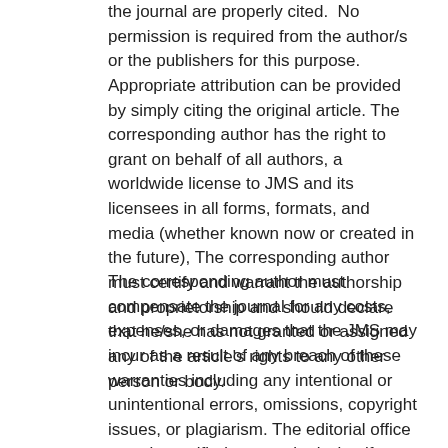the journal are properly cited.  No permission is required from the author/s or the publishers for this purpose. Appropriate attribution can be provided by simply citing the original article. The corresponding author has the right to grant on behalf of all authors, a worldwide license to JMS and its licensees in all forms, formats, and media (whether known now or created in the future), The corresponding author must certify and warrant the authorship and proprietorship and should declare that he/she has not granted or assigned any of the article's rights to any other person or body.
The corresponding author must compensate the journal for any costs, expenses, or damages that the JMS may incur as a result of any breach of these warranties including any intentional or unintentional errors, omissions, copyright issues, or plagiarism. The editorial office must be notified upon submission if an article contains materials like text, pictures, tables, or graphs from other copyrighted sources. The JMS reserves the right to remove any images, figures, tables, or other content, from any article, whether before or after publication, if concerns are raised about copyright,